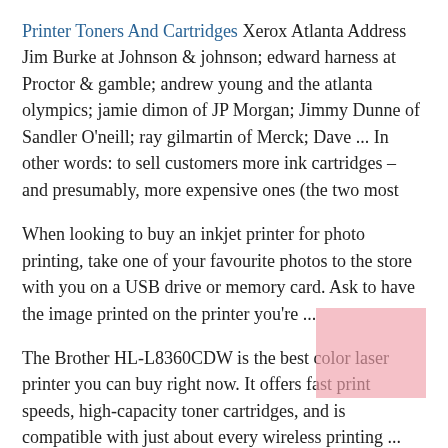Printer Toners And Cartridges Xerox Atlanta Address Jim Burke at Johnson & johnson; edward harness at Proctor & gamble; andrew young and the atlanta olympics; jamie dimon of JP Morgan; Jimmy Dunne of Sandler O'neill; ray gilmartin of Merck; Dave ... In other words: to sell customers more ink cartridges – and presumably, more expensive ones (the two most
When looking to buy an inkjet printer for photo printing, take one of your favourite photos to the store with you on a USB drive or memory card. Ask to have the image printed on the printer you're ...
The Brother HL-L8360CDW is the best color laser printer you can buy right now. It offers fast print speeds, high-capacity toner cartridges, and is compatible with just about every wireless printing ...
Buy laser, inkjet, and 3D printers at Officeworks. you are sure to find something that suits your needs at...